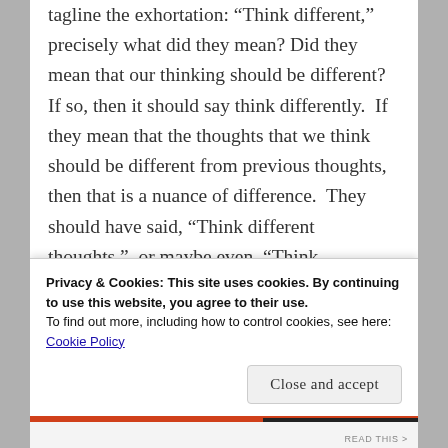tagline the exhortation: “Think different,” precisely what did they mean? Did they mean that our thinking should be different? If so, then it should say think differently.  If they mean that the thoughts that we think should be different from previous thoughts, then that is a nuance of difference.  They should have said, “Think different thoughts,”  or maybe even, “Think something different,” different then being the adjective modifying “something.” There is a difference between the thinking process
Privacy & Cookies: This site uses cookies. By continuing to use this website, you agree to their use.
To find out more, including how to control cookies, see here: Cookie Policy
Close and accept